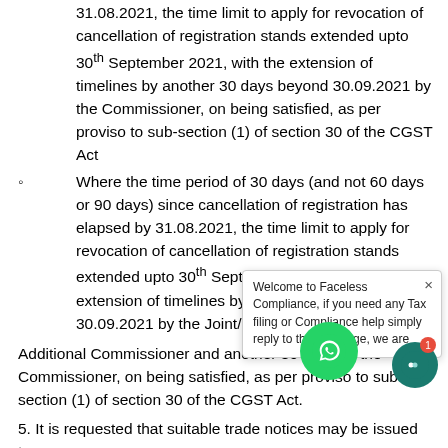31.08.2021, the time limit to apply for revocation of cancellation of registration stands extended upto 30th September 2021, with the extension of timelines by another 30 days beyond 30.09.2021 by the Commissioner, on being satisfied, as per proviso to sub-section (1) of section 30 of the CGST Act
Where the time period of 30 days (and not 60 days or 90 days) since cancellation of registration has elapsed by 31.08.2021, the time limit to apply for revocation of cancellation of registration stands extended upto 30th September 2021, with the extension of timelines by another 30 days beyond 30.09.2021 by the Joint/
Additional Commissioner and another 30 days by the Commissioner, on being satisfied, as per proviso to sub-section (1) of section 30 of the CGST Act.
5. It is requested that suitable trade notices may be issued to